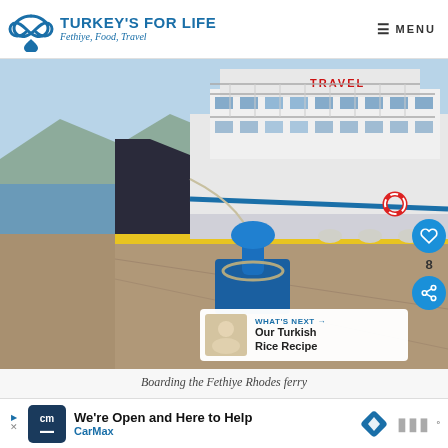TURKEY'S FOR LIFE — Fethiye, Food, Travel | MENU
[Figure (photo): A large white ferry boat named TRAVEL docked at a harbor pier. A blue mooring bollard is visible in the foreground on a concrete dock with yellow painted edge. Mountains and blue sky in background.]
Boarding the Fethiye Rhodes ferry
We're Open and Here to Help — CarMax (advertisement)